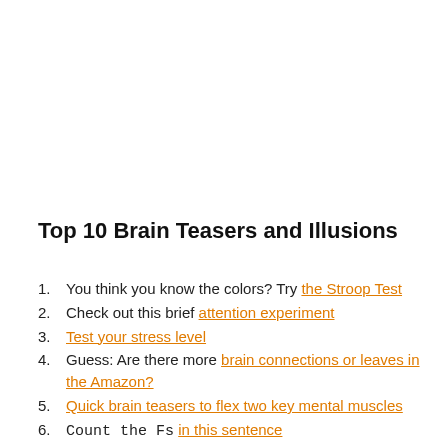Top 10 Brain Teasers and Illusions
You think you know the colors? Try the Stroop Test
Check out this brief attention experiment
Test your stress level
Guess: Are there more brain connections or leaves in the Amazon?
Quick brain teasers to flex two key mental muscles
Count the Fs in this sentence
Can you identify Apple's logo?
Ten classic optical illusions to trick your mind